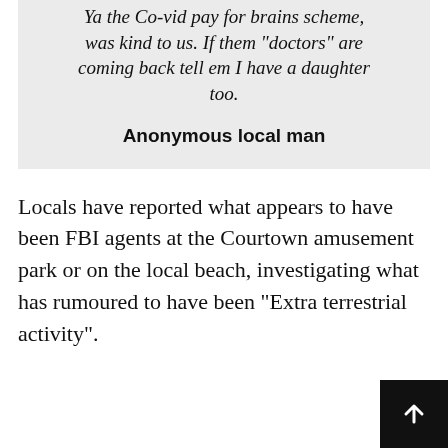Ya the Co-vid pay for brains scheme, was kind to us. If them “doctors” are coming back tell em I have a daughter too.
Anonymous local man
Locals have reported what appears to have been FBI agents at the Courtown amusement park or on the local beach, investigating what has rumoured to have been “Extra terrestrial activity”.